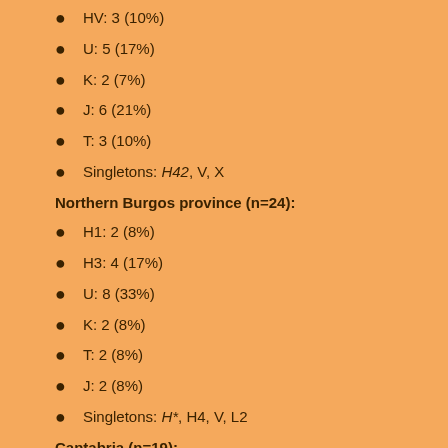HV: 3 (10%)
U: 5 (17%)
K: 2 (7%)
J: 6 (21%)
T: 3 (10%)
Singletons: H42, V, X
Northern Burgos province (n=24):
H1: 2 (8%)
H3: 4 (17%)
U: 8 (33%)
K: 2 (8%)
T: 2 (8%)
J: 2 (8%)
Singletons: H*, H4, V, L2
Cantabria (n=19):
H1: 7 (37%)
H3: 3 (16%)